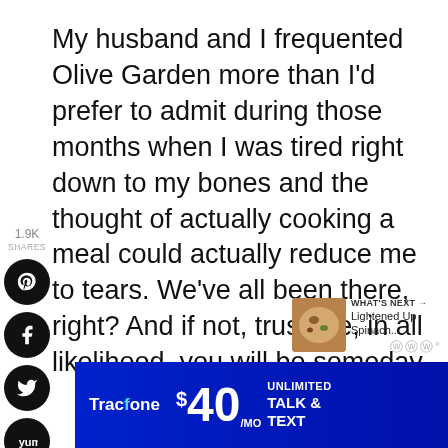My husband and I frequented Olive Garden more than I'd prefer to admit during those months when I was tired right down to my bones and the thought of actually cooking a meal could actually reduce me to tears. We've all been there, right? And if not, trust me, in all likelihood, you will be someday.
[Figure (screenshot): Social media share sidebar on left with share count 1.9K, Pinterest, Facebook, Twitter, Yummly, and Email buttons. Right side shows heart icon with 1.9K count and share icon. 'WHAT'S NEXT' widget shows food image and 'Lightened Up Spinach...' text. Tracfone ad banner at bottom: $40/mo Unlimited Talk & Text.]